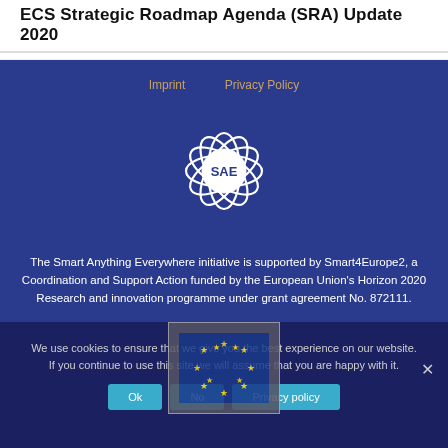ECS Strategic Roadmap Agenda (SRA) Update 2020
Imprint   Privacy Policy
[Figure (logo): SAE flower/atom logo with white petals on blue background and 'SAE' text in center circle]
The Smart Anything Everywhere initiative is supported by Smart4Europe2, a Coordination and Support Action funded by the European Union's Horizon 2020 Research and innovation programme under grant agreement No. 872111.
We use cookies to ensure that we give you the best experience on our website. If you continue to use this site we will assume that you are happy with it.
Ok   No   Privacy policy